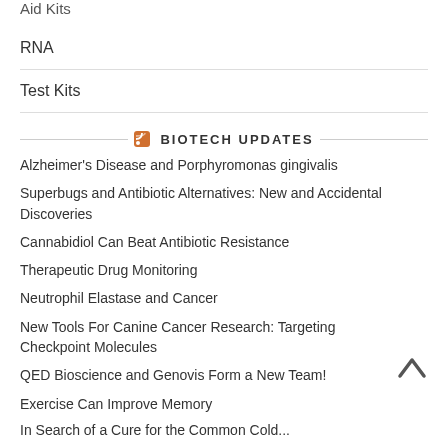Aid Kits
RNA
Test Kits
BIOTECH UPDATES
Alzheimer's Disease and Porphyromonas gingivalis
Superbugs and Antibiotic Alternatives: New and Accidental Discoveries
Cannabidiol Can Beat Antibiotic Resistance
Therapeutic Drug Monitoring
Neutrophil Elastase and Cancer
New Tools For Canine Cancer Research: Targeting Checkpoint Molecules
QED Bioscience and Genovis Form a New Team!
Exercise Can Improve Memory
In Search of a Cure for the Common Cold...